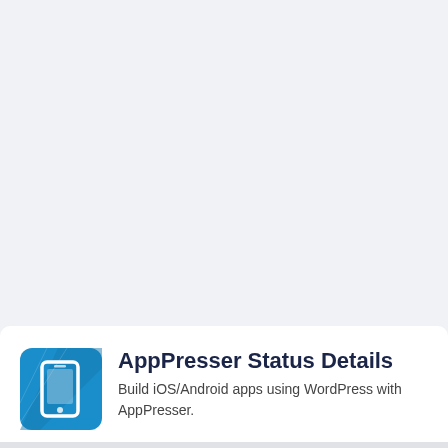[Figure (logo): AppPresser plugin icon — blue rounded rectangle with a white smartphone/tablet silhouette and a diagonal lightning bolt or app frame overlay]
AppPresser Status Details
Build iOS/Android apps using WordPress with AppPresser.